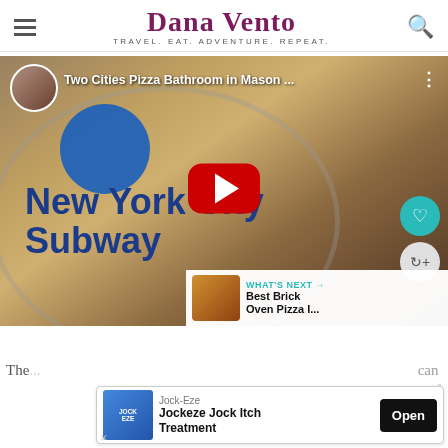Dana Vento — TRAVEL. EAT. ADVENTURE. REPEAT.
[Figure (screenshot): YouTube video embed showing 'Two Cities Pizza Bathroom in Mason...' with a New York City Subway themed background, play button overlay, like and share action buttons, and a What's Next panel showing 'Best Brick Oven Pizza I...']
The ... can ...
[Figure (other): Advertisement banner: Jock-Eze Jockeze Jock Itch Treatment with Open button]